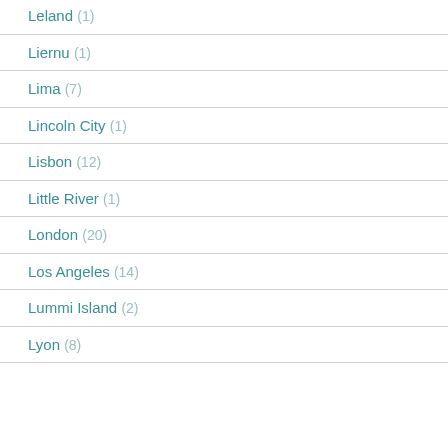Leland (1)
Liernu (1)
Lima (7)
Lincoln City (1)
Lisbon (12)
Little River (1)
London (20)
Los Angeles (14)
Lummi Island (2)
Lyon (8)